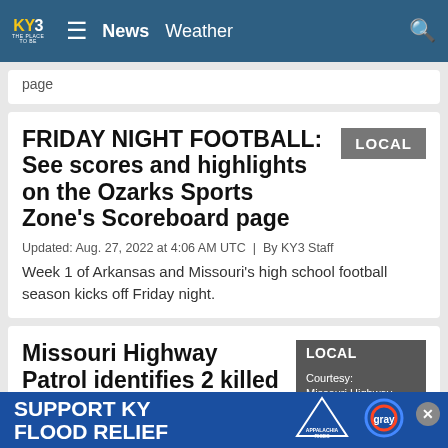KY3 THE PLACE TO BE — News Weather
page
FRIDAY NIGHT FOOTBALL: See scores and highlights on the Ozarks Sports Zone's Scoreboard page
LOCAL
Updated: Aug. 27, 2022 at 4:06 AM UTC  |  By KY3 Staff
Week 1 of Arkansas and Missouri's high school football season kicks off Friday night.
Missouri Highway Patrol identifies 2 killed in UTV crash in Camden County
LOCAL
Courtesy: Missouri Highway Patrol
Updated:
The M...                                                   rdly
SUPPORT KY FLOOD RELIEF  APPALACHIA RISES  gray